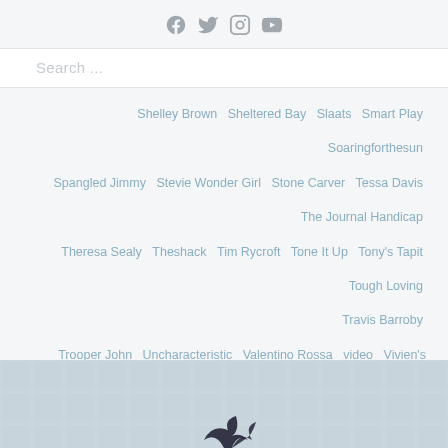Social media icons: Facebook, Twitter, Instagram, YouTube
Search ...
Shelley Brown  Sheltered Bay  Slaats  Smart Play  Soaringforthesun  Spangled Jimmy  Stevie Wonder Girl  Stone Carver  Tessa Davis  The Journal Handicap  Theresa Sealy  Theshack  Tim Rycroft  Tone It Up  Tony's Tapit  Tough Loving  Travis Barroby  Trooper John  Uncharacteristic  Valentino Rossa  video  Vivien's Charm  Wave Burner  Wesley Oulton  Western Canada Handicap  William DeCoursey  Witt Six  YouTube
[Figure (illustration): Footer area with light blue-grey tile/grid pattern background and partial dark logo/bird graphic at bottom center]